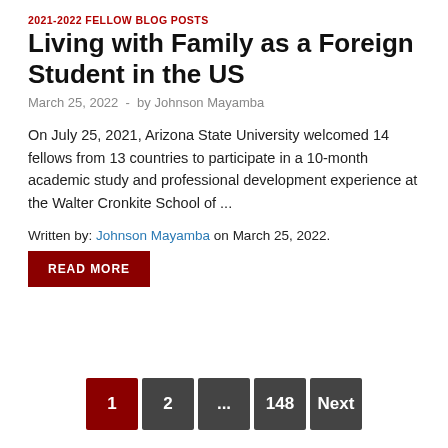2021-2022 FELLOW BLOG POSTS
Living with Family as a Foreign Student in the US
March 25, 2022  -  by Johnson Mayamba
On July 25, 2021, Arizona State University welcomed 14 fellows from 13 countries to participate in a 10-month academic study and professional development experience at the Walter Cronkite School of ...
Written by: Johnson Mayamba on March 25, 2022.
READ MORE
1
2
...
148
Next